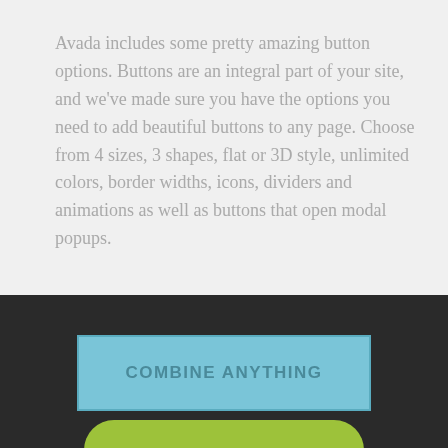Avada includes some pretty amazing button options. Buttons are an integral part of your site, and we've made sure you have the options you need to add beautiful buttons to any page. Choose from 4 sizes, 3 shapes, flat or 3D style, unlimited colors, border widths, icons, dividers and animations as well as buttons that open modal popups.
[Figure (other): A large light blue rectangular button with bold uppercase text reading 'COMBINE ANYTHING' in dark teal, on a dark charcoal background.]
[Figure (other): A large green pill-shaped button with bold uppercase text reading 'MODAL CLICK HERE' in dark red, partially visible at the bottom of the page.]